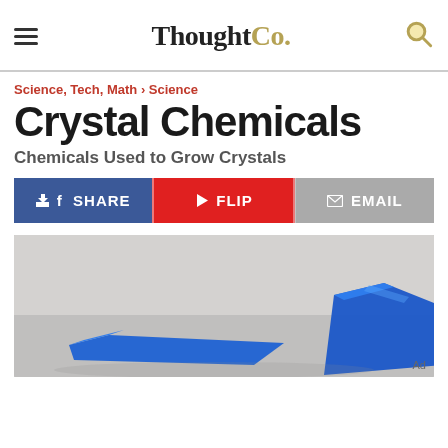ThoughtCo.
Science, Tech, Math › Science
Crystal Chemicals
Chemicals Used to Grow Crystals
f  SHARE
▶  FLIP
✉  EMAIL
[Figure (photo): Close-up photo of blue crystals on a grey background]